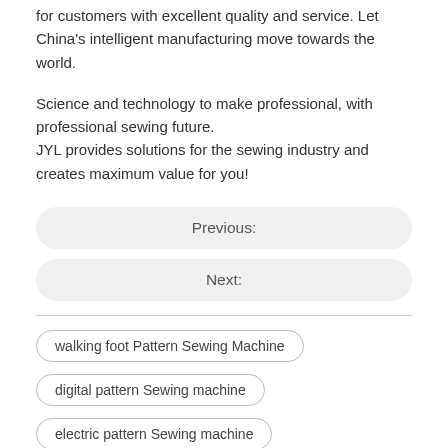for customers with excellent quality and service. Let China's intelligent manufacturing move towards the world.
Science and technology to make professional, with professional sewing future.
JYL provides solutions for the sewing industry and creates maximum value for you!
Previous:
Next:
walking foot Pattern Sewing Machine
digital pattern Sewing machine
electric pattern Sewing machine